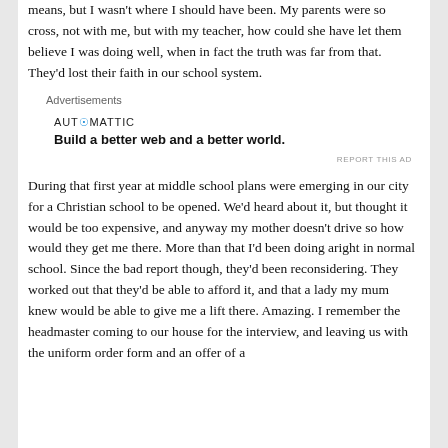means, but I wasn't where I should have been. My parents were so cross, not with me, but with my teacher, how could she have let them believe I was doing well, when in fact the truth was far from that. They'd lost their faith in our school system.
[Figure (other): Advertisement block: Automattic logo with tagline 'Build a better web and a better world.']
During that first year at middle school plans were emerging in our city for a Christian school to be opened. We'd heard about it, but thought it would be too expensive, and anyway my mother doesn't drive so how would they get me there. More than that I'd been doing aright in normal school. Since the bad report though, they'd been reconsidering. They worked out that they'd be able to afford it, and that a lady my mum knew would be able to give me a lift there. Amazing. I remember the headmaster coming to our house for the interview, and leaving us with the uniform order form and an offer of a